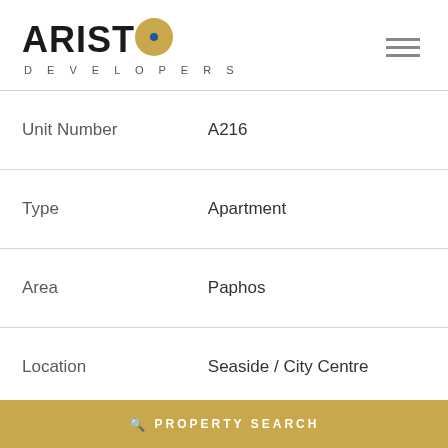[Figure (logo): Aristo Developers logo with stylized 'O' as a gold circle with blue dot, and hamburger menu icon on the right]
| Unit Number | A216 |
| Type | Apartment |
| Area | Paphos |
| Location | Seaside / City Centre |
| Bedrooms | 3 |
| Development Type | Residential |
PROPERTY SEARCH